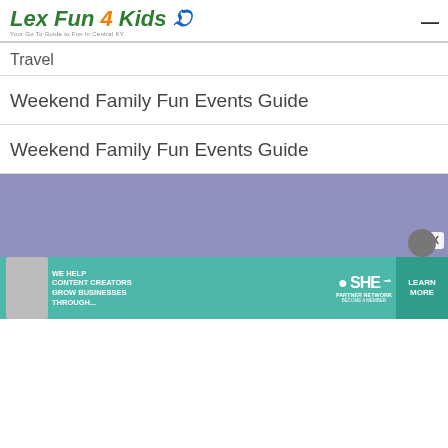Lex Fun 4 Kids — Your Go To Guide to Fun in Central KY
Travel
Weekend Family Fun Events Guide
Weekend Family Fun Events Guide
[Figure (illustration): Lavender/periwinkle blue advertisement background panel with a woman holding a tablet and SHE Partner Network ad banner at the bottom reading: WE HELP CONTENT CREATORS GROW BUSINESSES THROUGH... with a LEARN MORE button and a close X button.]